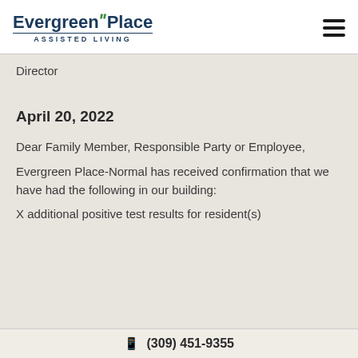Evergreen Place ASSISTED LIVING
Director
April 20, 2022
Dear Family Member, Responsible Party or Employee,
Evergreen Place-Normal has received confirmation that we have had the following in our building:
X additional positive test results for resident(s)
(309) 451-9355